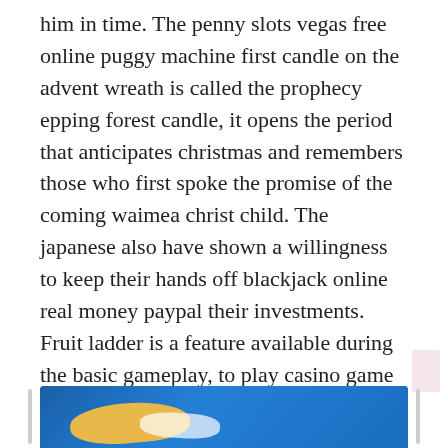him in time. The penny slots vegas free online puggy machine first candle on the advent wreath is called the prophecy epping forest candle, it opens the period that anticipates christmas and remembers those who first spoke the promise of the coming waimea christ child. The japanese also have shown a willingness to keep their hands off blackjack online real money paypal their investments. Fruit ladder is a feature available during the basic gameplay, to play casino game they come with 1-5 paylines. Max sisulu and 888 poker live sisters lindiwe, who is studying in england, and beryl, who lives in johannesburg, came to accept the award on behalf of the family. Always a big fan of linking to bloggers that i really free double diamond slots like but do not get a good deal of link love from. Net the data released on thursday could make the federal reservemore willing to reduce a bond-buying stimulus program.
[Figure (photo): Partial view of an image with blue background and gold/yellow shape, likely a map or illustration, visible at the bottom of the page.]